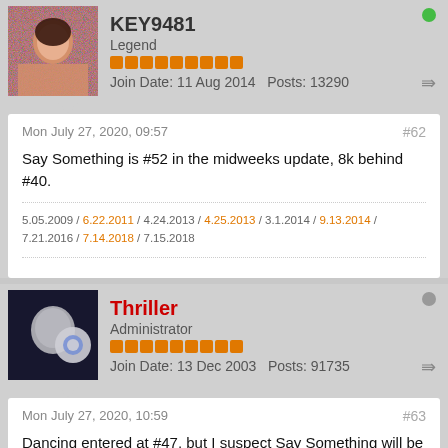KEY9481 — Legend — Join Date: 11 Aug 2014 — Posts: 13290
Mon July 27, 2020, 09:57 — #62
Say Something is #52 in the midweeks update, 8k behind #40.
5.05.2009 / 6.22.2011 / 4.24.2013 / 4.25.2013 / 3.1.2014 / 9.13.2014 / 7.21.2016 / 7.14.2018 / 7.15.2018
Thriller — Administrator — Join Date: 13 Dec 2003 — Posts: 91735
Mon July 27, 2020, 10:59 — #63
Dancing entered at #47, but I suspect Say Something will be a fair bit lower by Friday. iTunes sales are even lower now than in 2018 and she's down to #13 in the UK.